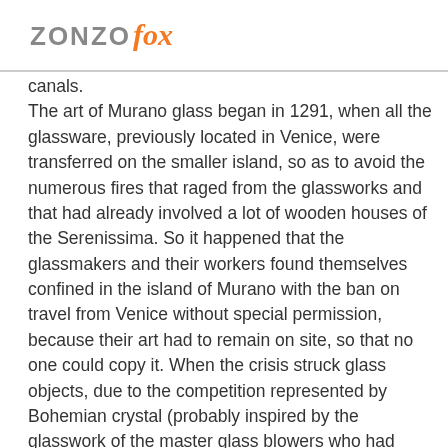ZONZO fox
canals.
The art of Murano glass began in 1291, when all the glassware, previously located in Venice, were transferred on the smaller island, so as to avoid the numerous fires that raged from the glassworks and that had already involved a lot of wooden houses of the Serenissima. So it happened that the glassmakers and their workers found themselves confined in the island of Murano with the ban on travel from Venice without special permission, because their art had to remain on site, so that no one could copy it. When the crisis struck glass objects, due to the competition represented by Bohemian crystal (probably inspired by the glasswork of the master glass blowers who had managed to escape from Venice), the glassmakers overcame through the creation of very special light fixtures, today product symbol of glassmaking in Murano. A must for those who come to Murano in the day of December 6th, the feast of San Nicolò (St. Nicholas), the patron of glassmakers: during the event glasswares are festively illuminated...